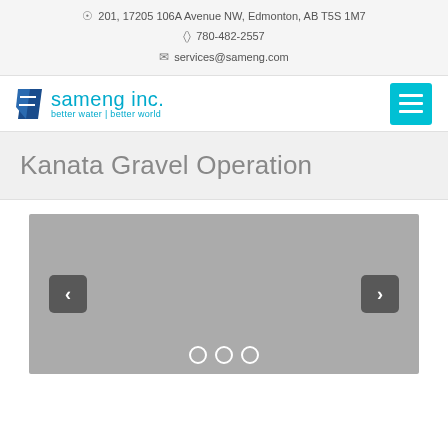201, 17205 106A Avenue NW, Edmonton, AB T5S 1M7
780-482-2557
services@sameng.com
[Figure (logo): Sameng Inc. logo with blue parallelogram icon and text 'sameng inc. better water | better world']
Kanata Gravel Operation
[Figure (photo): Image slideshow placeholder showing a grey content area with left and right navigation arrow buttons and three dot indicators at the bottom]